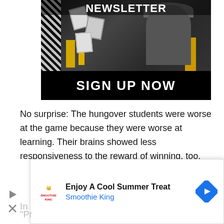[Figure (illustration): Newsletter sign-up advertisement banner with black background, black-and-white collage photo of a man in a cowboy hat with floating playing cards and yellow accent blocks, with text 'NEWSLETTER' at top and 'SIGN UP NOW' at bottom in bold white letters]
No surprise: The hungover students were worse at the game because they were worse at learning. Their brains showed less responsiveness to the reward of winning, too.
In d
like
[Figure (screenshot): Mobile advertisement overlay for Smoothie King with logo, text 'Enjoy A Cool Summer Treat' and 'Smoothie King' in blue, with a blue diamond navigation arrow icon]
"Pr